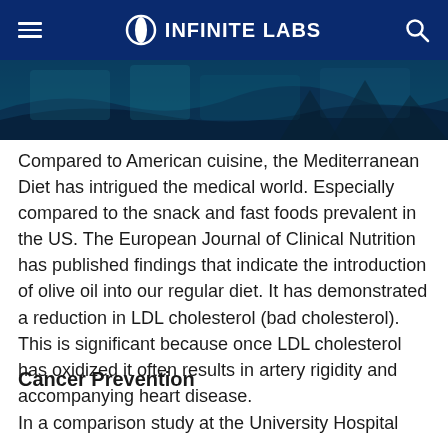INFINITE LABS
[Figure (photo): Partially visible hero banner image with a dark blue/teal toned background with abstract shapes]
Compared to American cuisine, the Mediterranean Diet has intrigued the medical world. Especially compared to the snack and fast foods prevalent in the US. The European Journal of Clinical Nutrition has published findings that indicate the introduction of olive oil into our regular diet. It has demonstrated a reduction in LDL cholesterol (bad cholesterol). This is significant because once LDL cholesterol has oxidized it often results in artery rigidity and accompanying heart disease.
Cancer Prevention
In a comparison study at the University Hospital